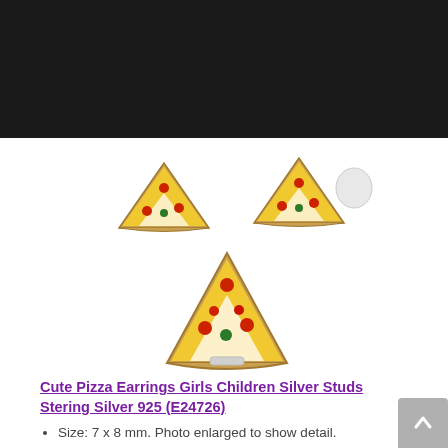[Figure (logo): Pizza chef cartoon logo with chef holding pizza, Italian colors, on black header bar]
[Figure (photo): Pizza slice stud earrings product photo - two views, yellow triangle pizza slice earrings with toppings on white background]
Cute Pizza Earrings Girls Children Silver Studs Stering Silver 925 (E24726)
Size: 7 x 8 mm. Photo enlarged to show detail.
Material - genuine 925 sterling silver, Nickel and Lead free. Conform to...
Finishing - E-Coat protects the sterling silver from tarnishing for an...